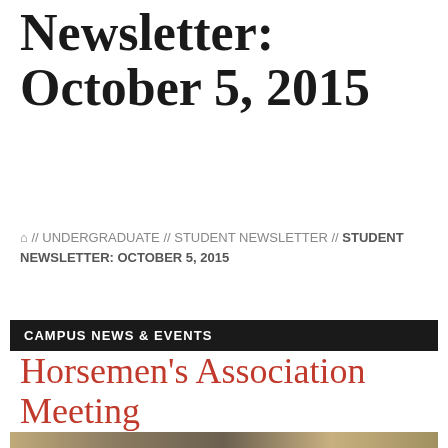Student Newsletter: October 5, 2015
🏠 // UNDERGRADUATE // STUDENT NEWSLETTER // STUDENT NEWSLETTER: OCTOBER 5, 2015
CAMPUS NEWS & EVENTS
Horsemen's Association Meeting
[Figure (photo): Outdoor photo related to Horsemen's Association Meeting, partially visible at bottom of page]